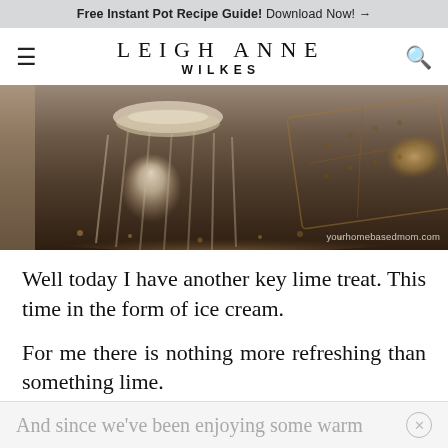Free Instant Pot Recipe Guide! Download Now! →
LEIGH ANNE WILKES
[Figure (photo): Close-up photo of a ramekin/cup of key lime ice cream with graham cracker crumbs on a dark surface, with a graham cracker leaning against the cup. Watermark: yourhomebasedmom.com]
Well today I have another key lime treat. This time in the form of ice cream.
For me there is nothing more refreshing than something lime.
And since we've been enjoying some warm